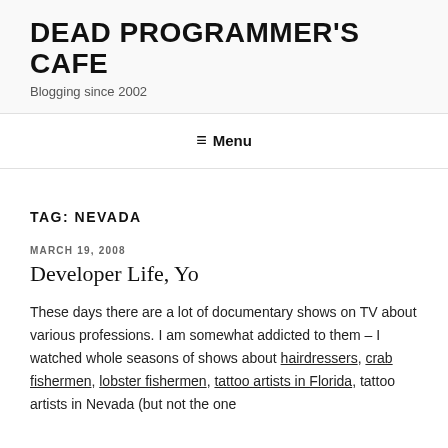DEAD PROGRAMMER'S CAFE
Blogging since 2002
≡ Menu
TAG: NEVADA
MARCH 19, 2008
Developer Life, Yo
These days there are a lot of documentary shows on TV about various professions. I am somewhat addicted to them – I watched whole seasons of shows about hairdressers, crab fishermen, lobster fishermen, tattoo artists in Florida, tattoo artists in Nevada (but not the one